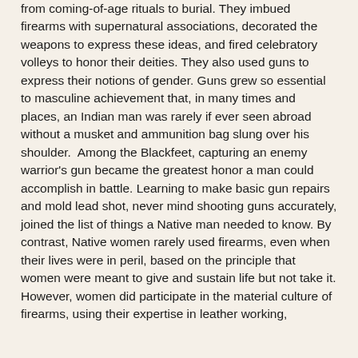from coming-of-age rituals to burial. They imbued firearms with supernatural associations, decorated the weapons to express these ideas, and fired celebratory volleys to honor their deities. They also used guns to express their notions of gender. Guns grew so essential to masculine achievement that, in many times and places, an Indian man was rarely if ever seen abroad without a musket and ammunition bag slung over his shoulder.  Among the Blackfeet, capturing an enemy warrior's gun became the greatest honor a man could accomplish in battle. Learning to make basic gun repairs and mold lead shot, never mind shooting guns accurately, joined the list of things a Native man needed to know. By contrast, Native women rarely used firearms, even when their lives were in peril, based on the principle that women were meant to give and sustain life but not take it. However, women did participate in the material culture of firearms, using their expertise in leather working,